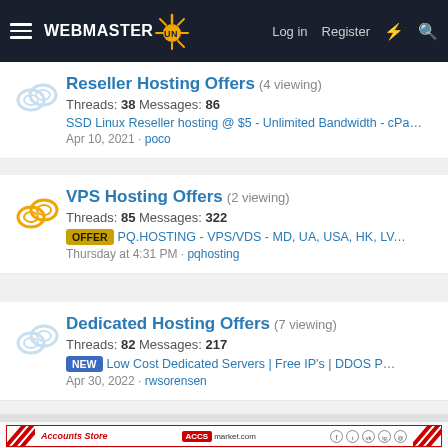WEBMASTER SUN — Log in  Register
Reseller Hosting Offers (4 viewing)
Threads: 38  Messages: 86
SSD Linux Reseller hosting @ $5 - Unlimited Bandwidth - cPan...
Apr 10, 2021 · poco
VPS Hosting Offers (2 viewing)
Threads: 85  Messages: 322
OFFER  PQ.HOSTING - VPS/VDS - MD, UA, USA, HK, LV, NL, ...
Thursday at 4:31 PM · pqhosting
Dedicated Hosting Offers (7 viewing)
Threads: 82  Messages: 217
NEW  Low Cost Dedicated Servers | Free IP's | DDOS Protectio...
Apr 30, 2022 · rwsorensen
[Figure (infographic): Ad banner for ACCSmarket.com Accounts Store with red diagonal stripes, ACCS red box logo, and social media icons]